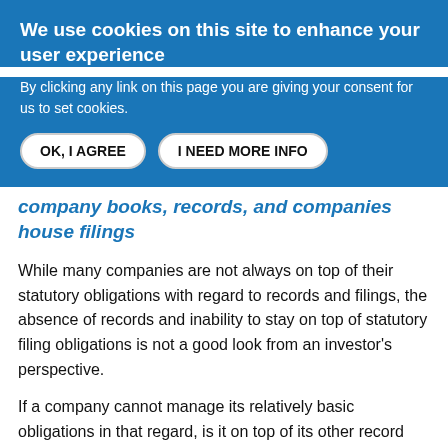We use cookies on this site to enhance your user experience
By clicking any link on this page you are giving your consent for us to set cookies.
company books, records, and companies house filings
While many companies are not always on top of their statutory obligations with regard to records and filings, the absence of records and inability to stay on top of statutory filing obligations is not a good look from an investor's perspective.
If a company cannot manage its relatively basic obligations in that regard, is it on top of its other record keeping and management obligations? It's also another matter that will take additional time and effort to bring up to date, when investors will